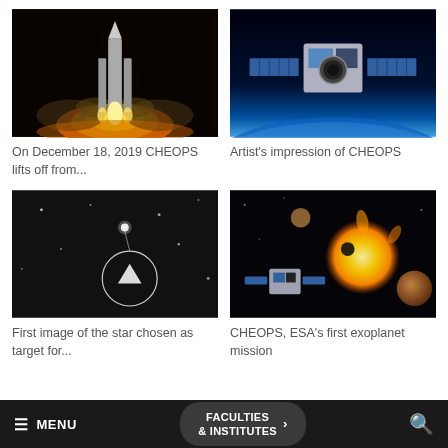[Figure (photo): Rocket launch at night with bright flames and smoke]
On December 18, 2019 CHEOPS lifts off from...
[Figure (photo): Artist's impression of the CHEOPS satellite in orbit above Earth]
Artist's impression of CHEOPS
[Figure (photo): First image of a star from CHEOPS, shown in grey scale with circle annotation]
First image of the star chosen as target for...
[Figure (photo): CHEOPS satellite near a sun with exoplanets in space]
CHEOPS, ESA's first exoplanet mission
≡ MENU   FACULTIES & INSTITUTES >   🔍